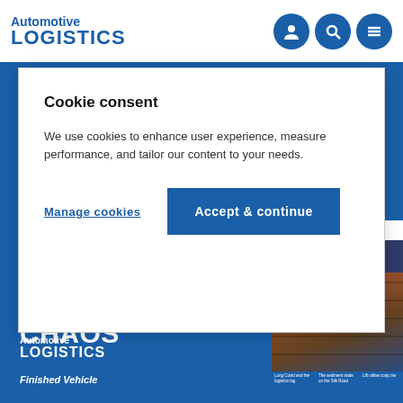Automotive LOGISTICS
Cookie consent
We use cookies to enhance user experience, measure performance, and tailor our content to your needs.
Manage cookies
Accept & continue
BOXING CLEVER IN THE WAKE OF CHAOS
[Figure (screenshot): Magazine cover thumbnail showing Automotive Logistics / Finished Vehicle Logistics with headline 'Boxing clever in the wake of chaos' and a photo of shipping containers]
Automotive LOGISTICS
Finished Vehicle